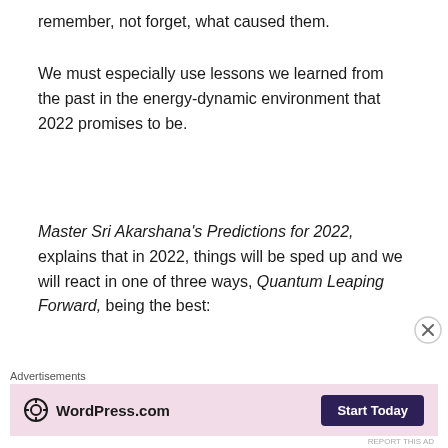remember, not forget, what caused them.
We must especially use lessons we learned from the past in the energy-dynamic environment that 2022 promises to be.
Master Sri Akarshana's Predictions for 2022, explains that in 2022, things will be sped up and we will react in one of three ways, Quantum Leaping Forward, being the best:
Quantum Leap Backwards
Advertisements
[Figure (other): WordPress.com advertisement banner with Start Today button]